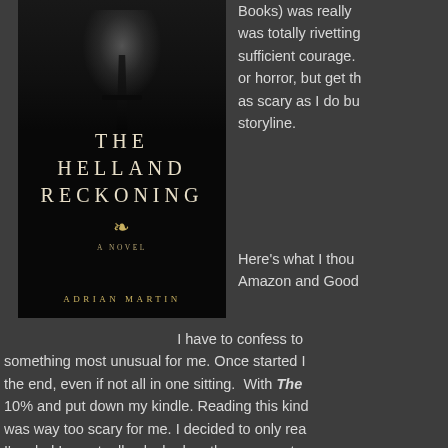[Figure (illustration): Book cover of 'The Helland Reckoning' by Adrian Martin. Dark cover with silhouette of a figure in a foggy forest, white serif title text, decorative ornament, 'A Novel' subtitle.]
Books) was really I was totally rivetting sufficient courage. or horror, but get th as scary as I do bu storyline.
Here's what I thou Amazon and Good
I have to confess to something most unusual for me. Once started I the end, even if not all in one sitting. With The 10% and put down my kindle. Reading this kind was way too scary for me. I decided to only rea I'm glad I eventually plucked up the courage to not alone) because it was totally engrossing tho